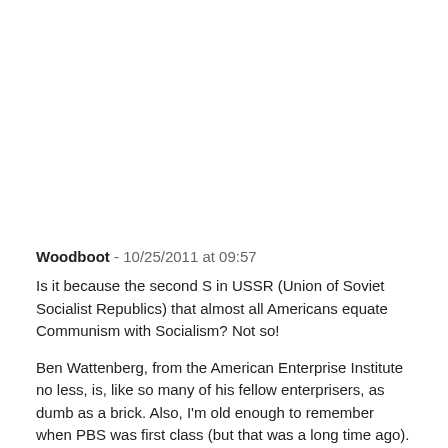Woodboot - 10/25/2011 at 09:57
Is it because the second S in USSR (Union of Soviet Socialist Republics) that almost all Americans equate Communism with Socialism? Not so!
Ben Wattenberg, from the American Enterprise Institute no less, is, like so many of his fellow enterprisers, as dumb as a brick. Also, I'm old enough to remember when PBS was first class (but that was a long time ago). So sad.